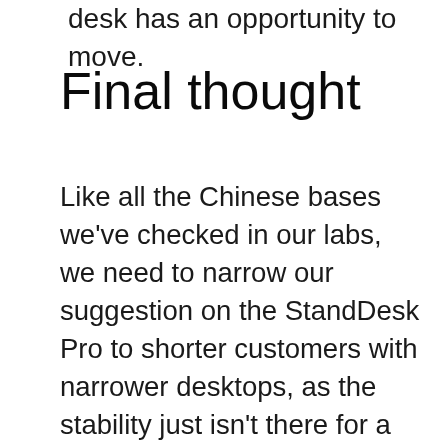desk has an opportunity to move.
Final thought
Like all the Chinese bases we've checked in our labs, we need to narrow our suggestion on the StandDesk Pro to shorter customers with narrower desktops, as the stability just isn't there for a big mass raised high off the ground. American-made workdesks will certainly be better fit to these applications, as well as for a relatively evident reason. Practically all American-made bases are made in US factories that are possessed by Swedish, Danish or German companies that developed this industry, and also their ordinary residents are a whole lot taller than